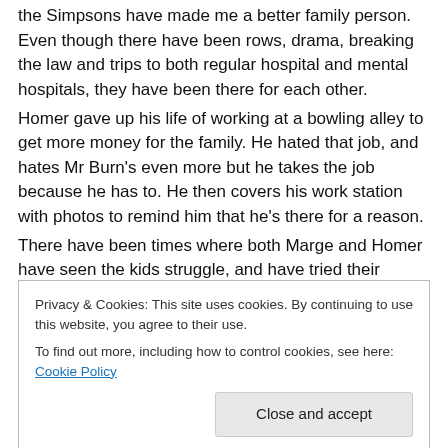the Simpsons have made me a better family person. Even though there have been rows, drama, breaking the law and trips to both regular hospital and mental hospitals, they have been there for each other. Homer gave up his life of working at a bowling alley to get more money for the family. He hated that job, and hates Mr Burn's even more but he takes the job because he has to. He then covers his work station with photos to remind him that he's there for a reason. There have been times where both Marge and Homer have seen the kids struggle, and have tried their hardest
Privacy & Cookies: This site uses cookies. By continuing to use this website, you agree to their use. To find out more, including how to control cookies, see here: Cookie Policy
Close and accept